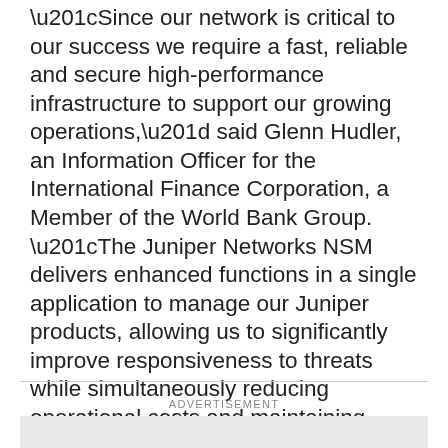“Since our network is critical to our success we require a fast, reliable and secure high-performance infrastructure to support our growing operations,” said Glenn Hudler, an Information Officer for the International Finance Corporation, a Member of the World Bank Group. “The Juniper Networks NSM delivers enhanced functions in a single application to manage our Juniper products, allowing us to significantly improve responsiveness to threats while simultaneously reducing operational costs and maintaining investment protection without compromises in performance and functionality.”
ADVERTISEMENT